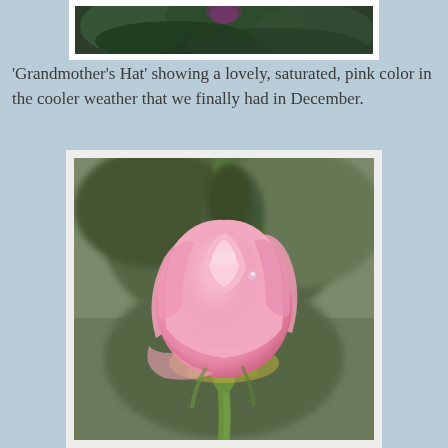[Figure (photo): Partial top image showing dark green foliage/leaves, cropped at the bottom of the previous photo.]
'Grandmother's Hat' showing a lovely, saturated, pink color in the cooler weather that we finally had in December.
[Figure (photo): Close-up photograph of a pink rose bud ('Grandmother's Hat') with soft pink petals and green stem/leaves in the background, slightly blurred. The flower is the main subject showing a saturated pink color.]